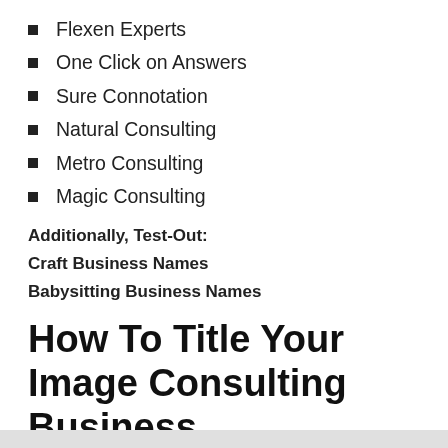Flexen Experts
One Click on Answers
Sure Connotation
Natural Consulting
Metro Consulting
Magic Consulting
Additionally, Test-Out:
Craft Business Names
Babysitting Business Names
How To Title Your Image Consulting Business